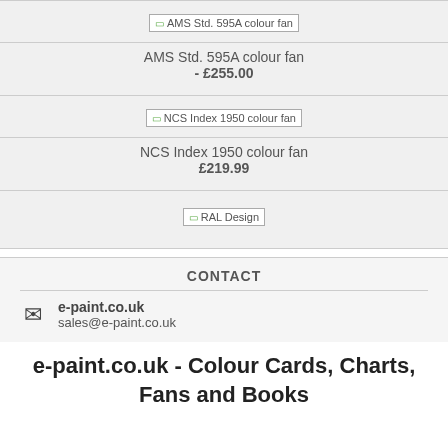[Figure (other): Broken image placeholder for AMS Std. 595A colour fan]
AMS Std. 595A colour fan - £255.00
[Figure (other): Broken image placeholder for NCS Index 1950 colour fan]
NCS Index 1950 colour fan £219.99
[Figure (other): Broken image placeholder for RAL Design]
CONTACT
e-paint.co.uk
sales@e-paint.co.uk
e-paint.co.uk - Colour Cards, Charts, Fans and Books